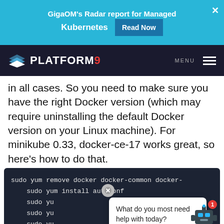[Figure (screenshot): Ad banner: GigaOM's Radar report for Managed Kubernetes with Read Now button and close X]
[Figure (screenshot): Platform9 navigation bar with logo and hamburger menu]
in all cases. So you need to make sure you have the right Docker version (which may require uninstalling the default Docker version on your Linux machine). For minikube 0.33, docker-ce-17 works great, so here's how to do that.
[Figure (screenshot): Dark code block with terminal commands: sudo yum remove docker docker-common docker-, sudo yum install autoconf, sudo yu...(obscured), sudo yu...(obscured), sudo yu...(obscured) with chat popup overlay saying 'What do you most need help with today?' and robot chatbot icon]